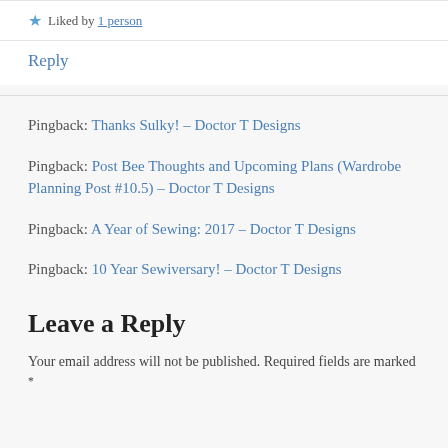★ Liked by 1 person
Reply
Pingback: Thanks Sulky! – Doctor T Designs
Pingback: Post Bee Thoughts and Upcoming Plans (Wardrobe Planning Post #10.5) – Doctor T Designs
Pingback: A Year of Sewing: 2017 – Doctor T Designs
Pingback: 10 Year Sewiversary! – Doctor T Designs
Leave a Reply
Your email address will not be published. Required fields are marked *